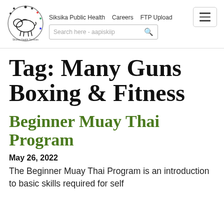[Figure (logo): Siksika Health Services logo — circular logo with a bison and decorative dots around the border]
Siksika Public Health   Careers   FTP Upload
Search here - aapiskiip
Tag: Many Guns Boxing & Fitness
Beginner Muay Thai Program
May 26, 2022
The Beginner Muay Thai Program is an introduction to basic skills required for self